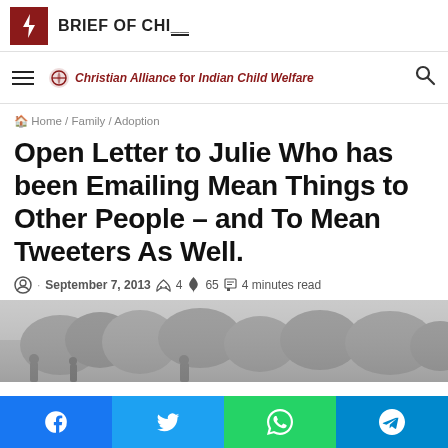BRIEF OF CHI_
Christian Alliance for Indian Child Welfare
Home / Family / Adoption
Open Letter to Julie Who has been Emailing Mean Things to Other People – and To Mean Tweeters As Well.
· September 7, 2013  4  65  4 minutes read
[Figure (photo): Greyscale outdoor photo showing trees and people silhouettes in background]
Facebook | Twitter | WhatsApp | Telegram social share bar